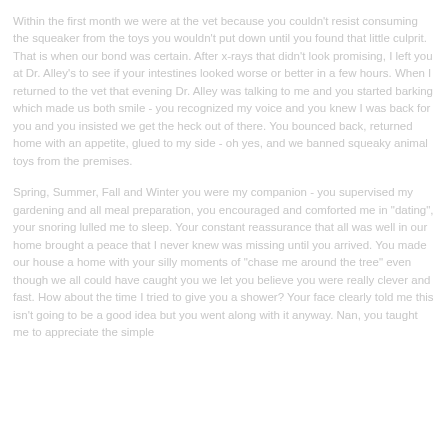Within the first month we were at the vet because you couldn't resist consuming the squeaker from the toys you wouldn't put down until you found that little culprit. That is when our bond was certain. After x-rays that didn't look promising, I left you at Dr. Alley's to see if your intestines looked worse or better in a few hours. When I returned to the vet that evening Dr. Alley was talking to me and you started barking which made us both smile - you recognized my voice and you knew I was back for you and you insisted we get the heck out of there. You bounced back, returned home with an appetite, glued to my side - oh yes, and we banned squeaky animal toys from the premises.
Spring, Summer, Fall and Winter you were my companion - you supervised my gardening and all meal preparation, you encouraged and comforted me in "dating", your snoring lulled me to sleep. Your constant reassurance that all was well in our home brought a peace that I never knew was missing until you arrived. You made our house a home with your silly moments of "chase me around the tree" even though we all could have caught you we let you believe you were really clever and fast. How about the time I tried to give you a shower? Your face clearly told me this isn't going to be a good idea but you went along with it anyway. Nan, you taught me to appreciate the simple